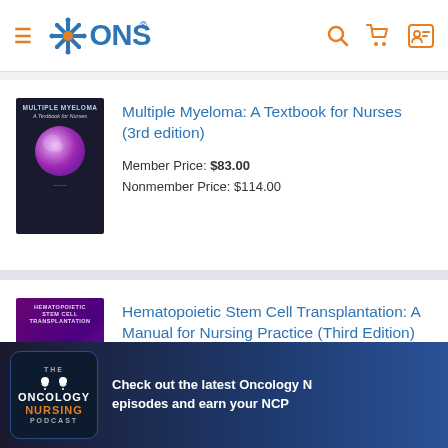ONS - Oncology Nursing Society website header with hamburger menu, ONS logo, search icon, cart icon, and account icon
[Figure (screenshot): Book cover for Multiple Myeloma: A Textbook for Nurses (3rd edition), dark background with circular cell microscopy image]
Multiple Myeloma: A Textbook for Nurses (3rd edition)
Member Price: $83.00
Nonmember Price: $114.00
[Figure (screenshot): Book cover for Hematopoietic Stem Cell Transplantation: A Manual for Nursing Practice (Third Edition), purple background]
Hematopoietic Stem Cell Transplantation: A Manual for Nursing Practice (Third Edition)
[Figure (screenshot): Oncology Nursing Podcast promotional banner with podcast badge logo and text: Check out the latest Oncology N... episodes and earn your NCP...]